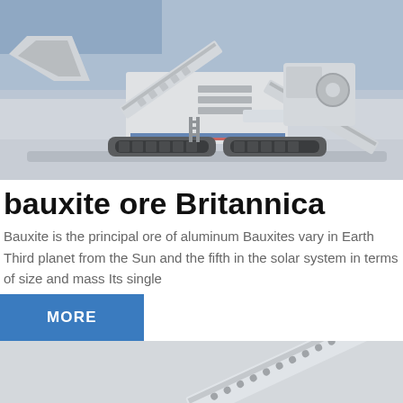[Figure (photo): Large industrial mobile crushing/screening machine on caterpillar tracks inside a warehouse or factory hall. The machine is white/grey, heavy-duty, with conveyor belts extended at angles. Indoor industrial setting with blue lighting in background.]
bauxite ore Britannica
Bauxite is the principal ore of aluminum Bauxites vary in Earth Third planet from the Sun and the fifth in the solar system in terms of size and mass Its single
MORE
[Figure (photo): Partial view of industrial equipment/conveyor belt, tilted at an angle, showing mechanical components and structural frame. Cropped bottom portion of the page.]
Get a Quote
WhatsApp